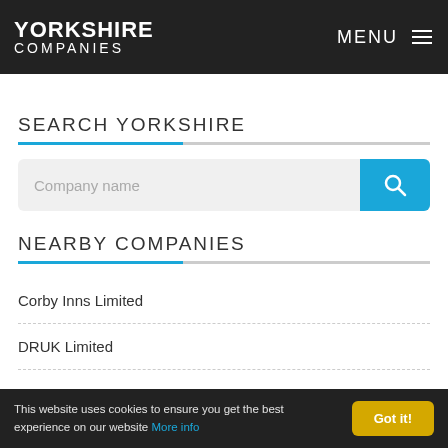YORKSHIRE COMPANIES | MENU
SEARCH YORKSHIRE
Company name
NEARBY COMPANIES
Corby Inns Limited
DRUK Limited
This website uses cookies to ensure you get the best experience on our website More info | Got it!